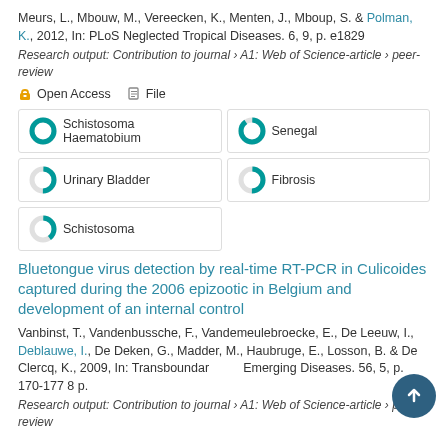Meurs, L., Mbouw, M., Vereecken, K., Menten, J., Mboup, S. & Polman, K., 2012, In: PLoS Neglected Tropical Diseases. 6, 9, p. e1829
Research output: Contribution to journal › A1: Web of Science-article › peer-review
Open Access   File
100% Schistosoma Haematobium
90% Senegal
50% Urinary Bladder
50% Fibrosis
40% Schistosoma
Bluetongue virus detection by real-time RT-PCR in Culicoides captured during the 2006 epizootic in Belgium and development of an internal control
Vanbinst, T., Vandenbussche, F., Vandemeulebroecke, E., De Leeuw, I., Deblauwe, I., De Deken, G., Madder, M., Haubruge, E., Losson, B. & De Clercq, K., 2009, In: Transboundary and Emerging Diseases. 56, 5, p. 170-177 8 p.
Research output: Contribution to journal › A1: Web of Science-article › peer-review